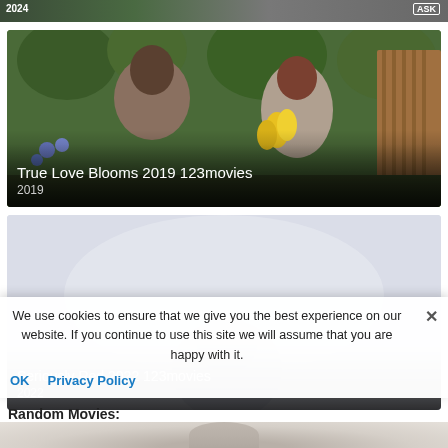[Figure (photo): Top strip of a cropped movie card with year label and ASK button visible]
[Figure (photo): Movie card for 'True Love Blooms 2019 123movies' showing a man and woman in a garden/flower shop]
True Love Blooms 2019 123movies
2019
[Figure (photo): Movie card for 'Seriously Red 2022 123movies' showing a light gray/foggy scene]
Seriously Red 2022 123movies
2022
We use cookies to ensure that we give you the best experience on our website. If you continue to use this site we will assume that you are happy with it.
Random Movies:
OK
Privacy Policy